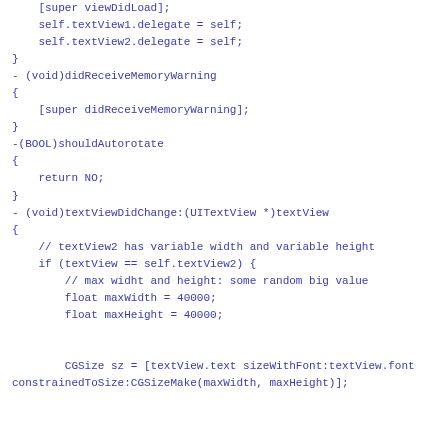[super viewDidLoad];
    self.textView1.delegate = self;
    self.textView2.delegate = self;
}
- (void)didReceiveMemoryWarning
{
    [super didReceiveMemoryWarning];
}
-(BOOL)shouldAutorotate
{
    return NO;
}
- (void)textViewDidChange:(UITextView *)textView
{
    // textView2 has variable width and variable height
    if (textView == self.textView2) {
        // max widht and height: some random big value
        float maxWidth = 40000;
        float maxHeight = 40000;


        CGSize sz = [textView.text sizeWithFont:textView.font
constrainedToSize:CGSizeMake(maxWidth, maxHeight)];